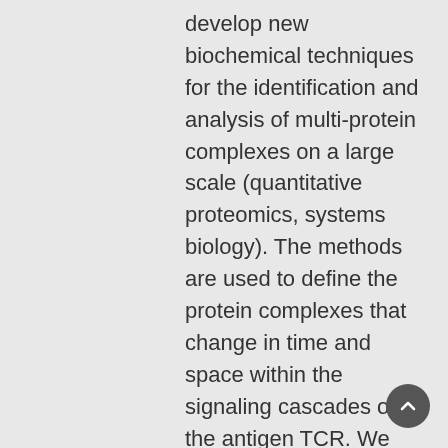develop new biochemical techniques for the identification and analysis of multi-protein complexes on a large scale (quantitative proteomics, systems biology). The methods are used to define the protein complexes that change in time and space within the signaling cascades of the antigen TCR. We have determined the TCR stoichiometry, by showing that complexes of different sizes co-exist on the cell membrane. Interestingly, they play different roles in T cell activation. We have detected a conformational change at the TCR induced by ligand-